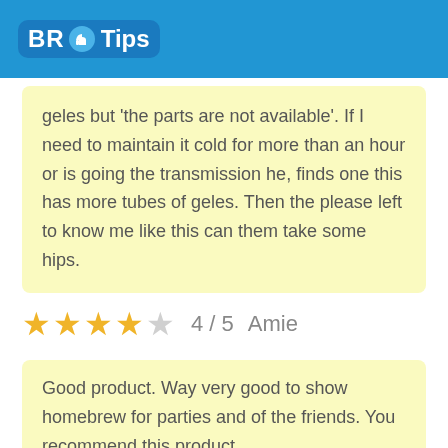BR Tips
geles but 'the parts are not available'. If I need to maintain it cold for more than an hour or is going the transmission he, finds one this has more tubes of geles. Then the please left to know me like this can them take some hips.
★★★★☆ 4 / 5  Amie
Good product. Way very good to show homebrew for parties and of the friends. You recommend this product.